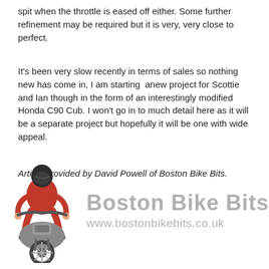spit when the throttle is eased off either. Some further refinement may be required but it is very, very close to perfect.
It's been very slow recently in terms of sales so nothing new has come in, I am starting  anew project for Scottie and Ian though in the form of an interestingly modified Honda C90 Cub. I won't go in to much detail here as it will be a separate project but hopefully it will be one with wide appeal.
Article provided by David Powell of Boston Bike Bits.
[Figure (logo): Boston Bike Bits logo: motorcycle rider illustration on the left, 'Boston Bike Bits' text in grey on the right, with website www.bostonbikebits.co.uk below]